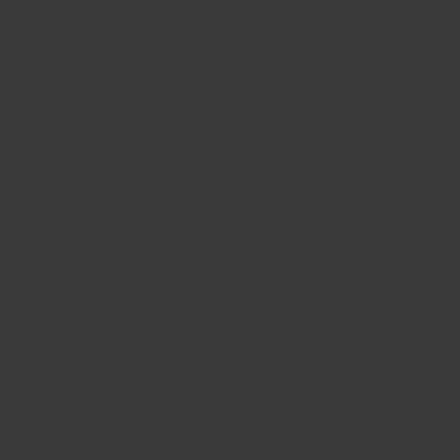e , ' H a p p y H a l l o W i s h e s F i r e w o r